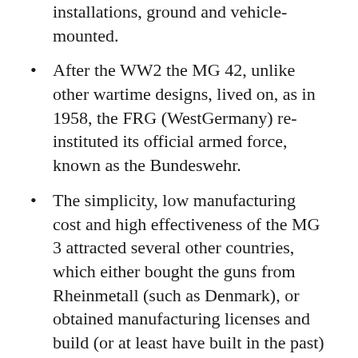installations, ground and vehicle-mounted.
After the WW2 the MG 42, unlike other wartime designs, lived on, as in 1958, the FRG (WestGermany) re-instituted its official armed force, known as the Bundeswehr.
The simplicity, low manufacturing cost and high effectiveness of the MG 3 attracted several other countries, which either bought the guns from Rheinmetall (such as Denmark), or obtained manufacturing licenses and build (or at least have built in the past) the same guns domestically (such as Italy, Iran, Turkey, Pakistan and Yugoslavia). In total, at least